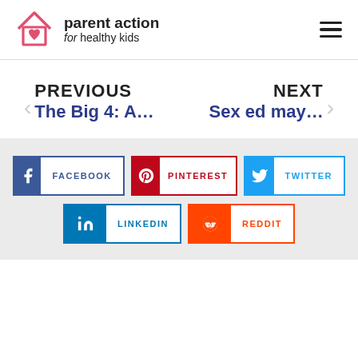[Figure (logo): Parent Action for Healthy Kids logo with house/heart icon in pink/red]
parent action for healthy kids
PREVIOUS   The Big 4: A…   NEXT   Sex ed may…
[Figure (infographic): Social share buttons: Facebook, Pinterest, Twitter, LinkedIn, Reddit]